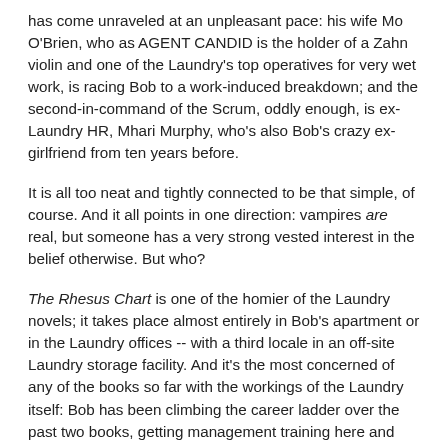has come unraveled at an unpleasant pace: his wife Mo O'Brien, who as AGENT CANDID is the holder of a Zahn violin and one of the Laundry's top operatives for very wet work, is racing Bob to a work-induced breakdown; and the second-in-command of the Scrum, oddly enough, is ex-Laundry HR, Mhari Murphy, who's also Bob's crazy ex-girlfriend from ten years before.
It is all too neat and tightly connected to be that simple, of course. And it all points in one direction: vampires are real, but someone has a very strong vested interest in the belief otherwise. But who?
The Rhesus Chart is one of the homier of the Laundry novels; it takes place almost entirely in Bob's apartment or in the Laundry offices -- with a third locale in an off-site Laundry storage facility. And it's the most concerned of any of the books so far with the workings of the Laundry itself: Bob has been climbing the career ladder over the past two books, getting management training here and secondment to a new department there, and now he is high enough to glance over the battlements and see the wider world.